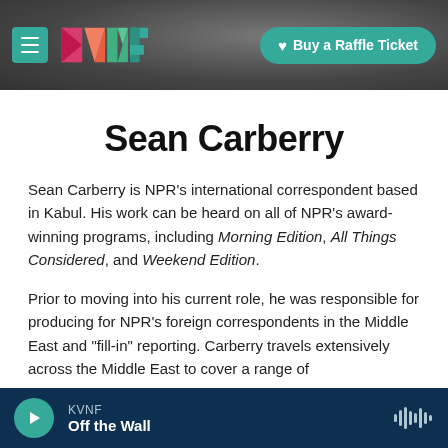KVNF — Buy a Raffle Ticket
Sean Carberry
Sean Carberry is NPR's international correspondent based in Kabul. His work can be heard on all of NPR's award-winning programs, including Morning Edition, All Things Considered, and Weekend Edition.
Prior to moving into his current role, he was responsible for producing for NPR's foreign correspondents in the Middle East and "fill-in" reporting. Carberry travels extensively across the Middle East to cover a range of
KVNF — Off the Wall